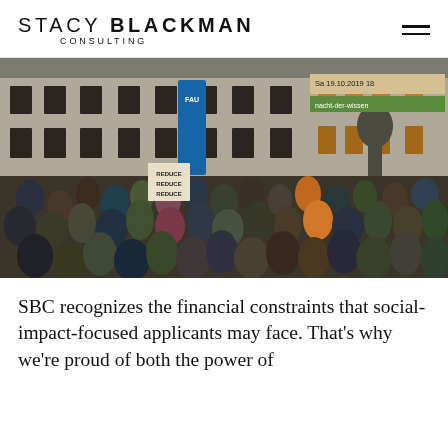STACY BLACKMAN CONSULTING
[Figure (photo): A large outdoor crowd gathered in a public square, holding signs including one reading 'REDUCE REDUCE REDUCE'. A blue FAU banner is visible. In the background is a grand stone building and a bronze statue of a historical figure. A date banner reads 'Sa 19.10.2019' and 'nacht-der-wissen'.]
SBC recognizes the financial constraints that social-impact-focused applicants may face. That's why we're proud of both the power of